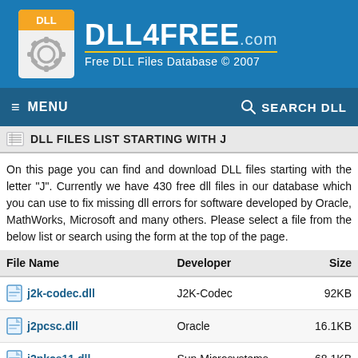DLL4FREE.com — Free DLL Files Database © 2007
DLL FILES LIST STARTING WITH J
On this page you can find and download DLL files starting with the letter "J". Currently we have 430 free dll files in our database which you can use to fix missing dll errors for software developed by Oracle, MathWorks, Microsoft and many others. Please select a file from the below list or search using the form at the top of the page.
| File Name | Developer | Size |
| --- | --- | --- |
| j2k-codec.dll | J2K-Codec | 92KB |
| j2pcsc.dll | Oracle | 16.1KB |
| j2pkcs11.dll | Sun Microsystems | 68.1KB |
| j2... |  |  |